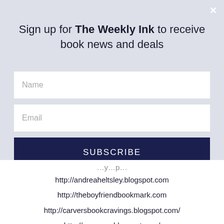Sign up for The Weekly Ink to receive book news and deals
Name
Email
SUBSCRIBE
http://andreaheltsley.blogspot.com
http://theboyfriendbookmark.com
http://carversbookcravings.blogspot.com/
http://ycervera.blogspot.com/
http://www.tabbystantalizingreviews.blogspot.com
http://treatiseandtea.blogspot.com
http://www.badassbookbabe.blogspot.com